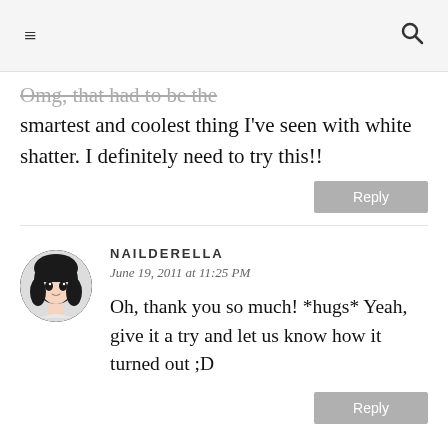≡  🔍
Omg, that had to be the smartest and coolest thing I've seen with white shatter. I definitely need to try this!!
Reply
NAILDERELLA
June 19, 2011 at 11:25 PM
Oh, thank you so much! *hugs* Yeah, give it a try and let us know how it turned out ;D
Reply